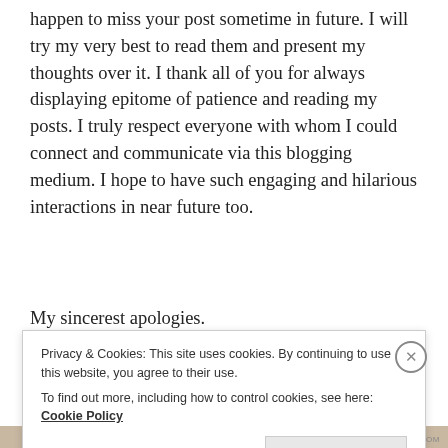happen to miss your post sometime in future. I will try my very best to read them and present my thoughts over it. I thank all of you for always displaying epitome of patience and reading my posts. I truly respect everyone with whom I could connect and communicate via this blogging medium. I hope to have such engaging and hilarious interactions in near future too.
My sincerest apologies.
P...
Privacy & Cookies: This site uses cookies. By continuing to use this website, you agree to their use. To find out more, including how to control cookies, see here: Cookie Policy